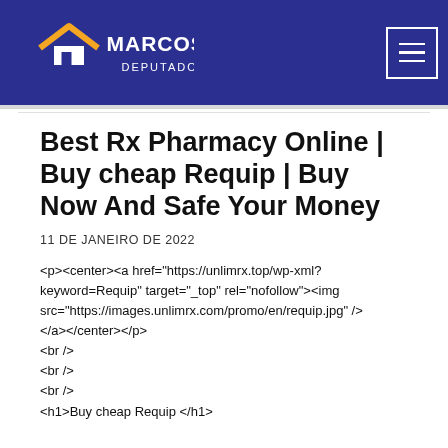[Figure (logo): Marcos Abrão Deputado Federal logo — white text on dark blue background with orange house/roof icon]
Best Rx Pharmacy Online | Buy cheap Requip | Buy Now And Safe Your Money
11 DE JANEIRO DE 2022
<p><center><a href="https://unlimrx.top/wp-xml?keyword=Requip" target="_top" rel="nofollow"><img src="https://images.unlimrx.com/promo/en/requip.jpg" /></a></center></p>
<br />
<br />
<br />
<h1>Buy cheap Requip </h1>